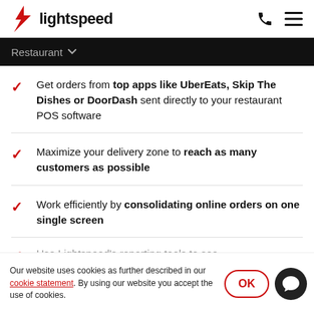lightspeed
Restaurant
Get orders from top apps like UberEats, Skip The Dishes or DoorDash sent directly to your restaurant POS software
Maximize your delivery zone to reach as many customers as possible
Work efficiently by consolidating online orders on one single screen
Use Lightspeed's reporting tools to see
Our website uses cookies as further described in our cookie statement. By using our website you accept the use of cookies.